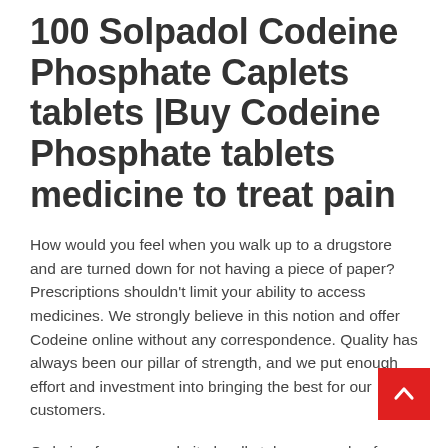100 Solpadol Codeine Phosphate Caplets tablets |Buy Codeine Phosphate tablets medicine to treat pain
How would you feel when you walk up to a drugstore and are turned down for not having a piece of paper? Prescriptions shouldn't limit your ability to access medicines. We strongly believe in this notion and offer Codeine online without any correspondence. Quality has always been our pillar of strength, and we put enough effort and investment into bringing the best for our customers.
Ordering from our website hardly takes a couple of minutes, as we focus on intuitiveness. Our encrypted platform complies with security measures to prevent fraudulent